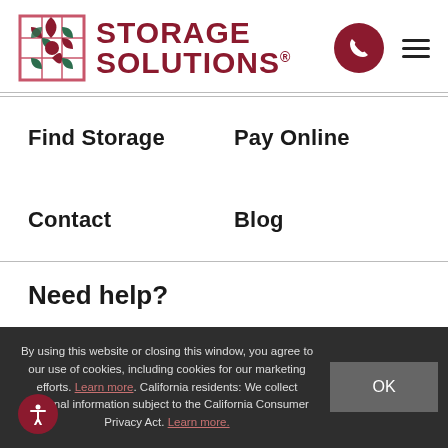[Figure (logo): Storage Solutions logo with grid icon and red/dark green text]
Find Storage
Pay Online
Contact
Blog
Need help?
By using this website or closing this window, you agree to our use of cookies, including cookies for our marketing efforts. Learn more. California residents: We collect personal information subject to the California Consumer Privacy Act. Learn more.